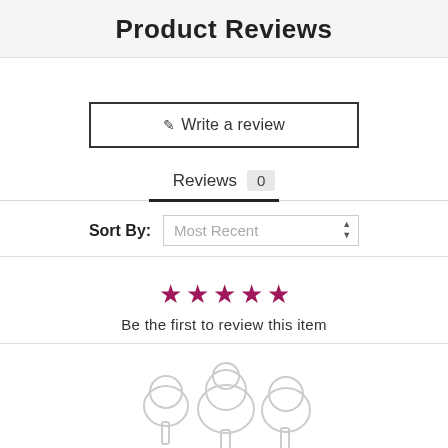Product Reviews
✎ Write a review
Reviews 0
Sort By: Most Recent
★★★★★ Be the first to review this item
[Figure (illustration): Outline illustration of stylized trees in light gray]